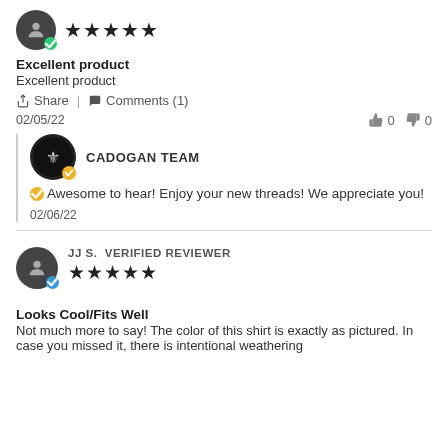[Figure (other): User avatar (dark circle with person icon) with green verified badge, followed by 5 black stars rating]
Excellent product
Excellent product
Share | Comments (1)
02/05/22   👍 0   👎 0
[Figure (other): Cadogan Team avatar (black circle with logo) with yellow badge, CADOGAN TEAM label]
Awesome to hear! Enjoy your new threads! We appreciate you!
02/06/22
[Figure (other): User avatar (dark circle with person icon) with blue verified badge, JJ S. VERIFIED REVIEWER label, followed by 5 black stars rating]
Looks Cool/Fits Well
Not much more to say! The color of this shirt is exactly as pictured. In case you missed it, there is intentional weathering